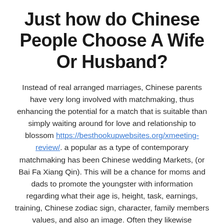Just how do Chinese People Choose A Wife Or Husband?
Instead of real arranged marriages, Chinese parents have very long involved with matchmaking, thus enhancing the potential for a match that is suitable than simply waiting around for love and relationship to blossom https://besthookupwebsites.org/xmeeting-review/. a popular as a type of contemporary matchmaking has been Chinese wedding Markets, (or Bai Fa Xiang Qin). This will be a chance for moms and dads to promote the youngster with information regarding what their age is, height, task, earnings, training, Chinese zodiac sign, character, family members values, and also an image. Often they likewise incorporate certain requirements for the suitable match.